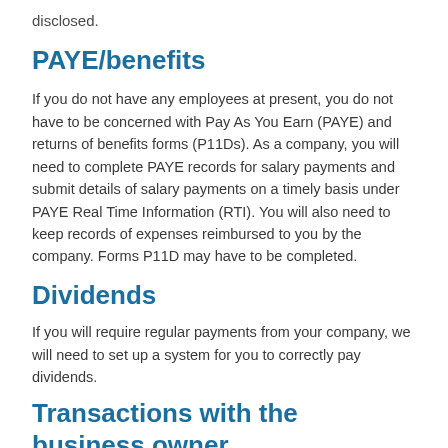disclosed.
PAYE/benefits
If you do not have any employees at present, you do not have to be concerned with Pay As You Earn (PAYE) and returns of benefits forms (P11Ds). As a company, you will need to complete PAYE records for salary payments and submit details of salary payments on a timely basis under PAYE Real Time Information (RTI). You will also need to keep records of expenses reimbursed to you by the company. Forms P11D may have to be completed.
Dividends
If you will require regular payments from your company, we will need to set up a system for you to correctly pay dividends.
Transactions with the business owner
A description appears to start here but is cut off with the page boundary.